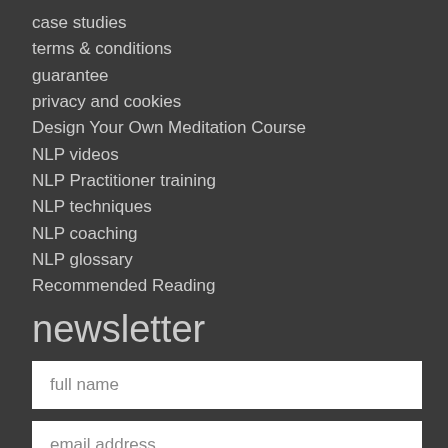case studies
terms & conditions
guarantee
privacy and cookies
Design Your Own Meditation Course
NLP videos
NLP Practitioner training
NLP techniques
NLP coaching
NLP glossary
Recommended Reading
newsletter
full name
email address